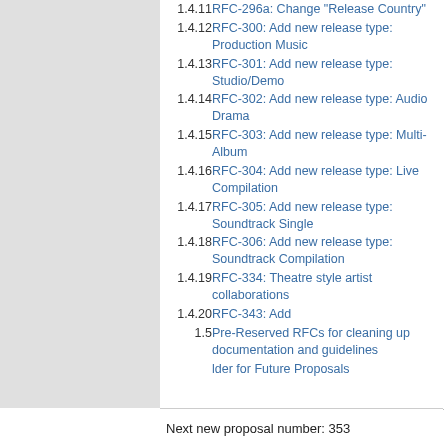1.4.11 RFC-296a: Change “Release Country”
1.4.12 RFC-300: Add new release type: Production Music
1.4.13 RFC-301: Add new release type: Studio/Demo
1.4.14 RFC-302: Add new release type: Audio Drama
1.4.15 RFC-303: Add new release type: Multi-Album
1.4.16 RFC-304: Add new release type: Live Compilation
1.4.17 RFC-305: Add new release type: Soundtrack Single
1.4.18 RFC-306: Add new release type: Soundtrack Compilation
1.4.19 RFC-334: Theatre style artist collaborations
1.4.20 RFC-343: Add
1.5 Pre-Reserved RFCs for cleaning up documentation and guidelines
lder for Future Proposals
Next new proposal number: 353